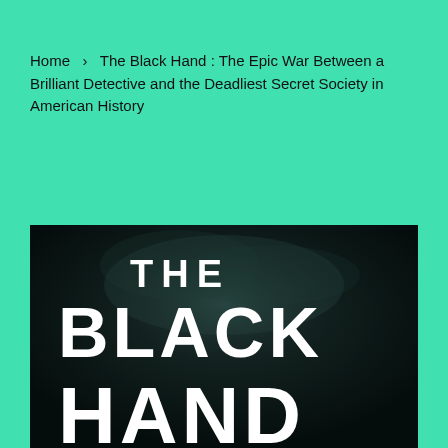Home  ›  The Black Hand : The Epic War Between a Brilliant Detective and the Deadliest Secret Society in American History
[Figure (photo): Book cover of 'The Black Hand' showing large white bold letters 'THE BLACK HAND' against a dark smoky background]